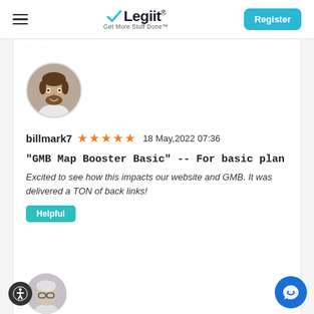Legiit — Get More Stuff Done | Register
[Figure (photo): Profile photo of a man with beard wearing a white shirt, circular crop]
billmark7   ★★★★★   18 May,2022 07:36
"GMB Map Booster Basic" -- For basic plan
Excited to see how this impacts our website and GMB. It was delivered a TON of back links!
Helpful
[Figure (photo): Partial profile photo of a person with glasses, circular crop, visible at bottom of page]